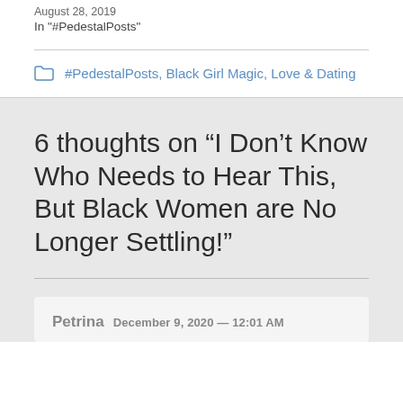In "#PedestalPosts"
#PedestalPosts, Black Girl Magic, Love & Dating
6 thoughts on “I Don’t Know Who Needs to Hear This, But Black Women are No Longer Settling!”
Petrina  December 9, 2020 — 12:01 AM